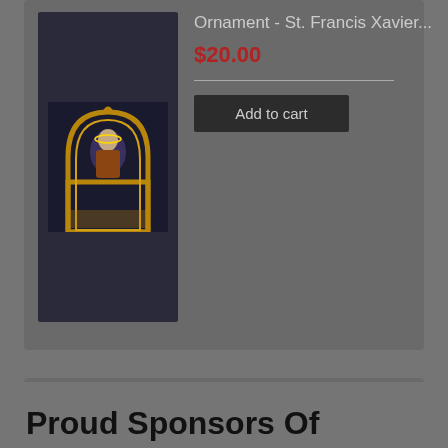[Figure (photo): Ornament - St. Francis Xavier product image showing a gold arch-shaped ornament with religious scene on dark blue background]
Ornament - St. Francis Xavier...
$20.00
Add to cart
[Figure (photo): Holy Water Bottle product image showing a white plastic bottle with cross and 'holy water' text on blurred green background]
Holy Water Bottle, St. Francis...
$2.99
Add to cart
Proud Sponsors Of